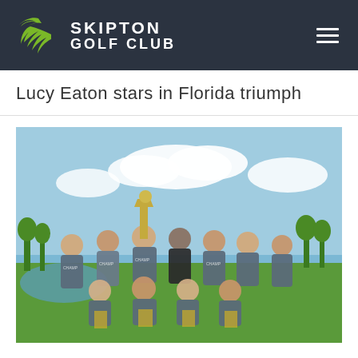[Figure (logo): Skipton Golf Club logo with green bird/swoosh icon and white text reading SKIPTON GOLF CLUB on dark navy background with hamburger menu icon]
Lucy Eaton stars in Florida triumph
[Figure (photo): Group photo of a women's golf team celebrating a championship victory outdoors near a water feature. The team is wearing grey championship t-shirts and holding large trophy plaques. One person holds a large gold trophy overhead. Blue sky with clouds in background.]